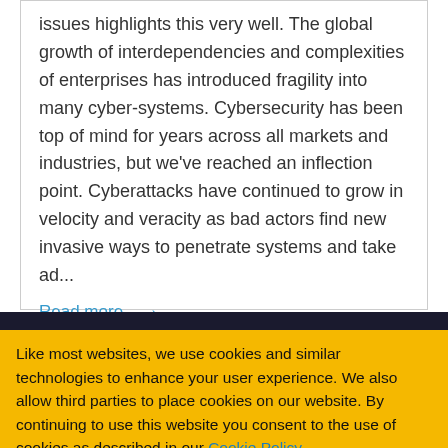issues highlights this very well. The global growth of interdependencies and complexities of enterprises has introduced fragility into many cyber-systems. Cybersecurity has been top of mind for years across all markets and industries, but we've reached an inflection point. Cyberattacks have continued to grow in velocity and veracity as bad actors find new invasive ways to penetrate systems and take ad...
Read more... →
Like most websites, we use cookies and similar technologies to enhance your user experience. We also allow third parties to place cookies on our website. By continuing to use this website you consent to the use of cookies as described in our Cookie Policy.